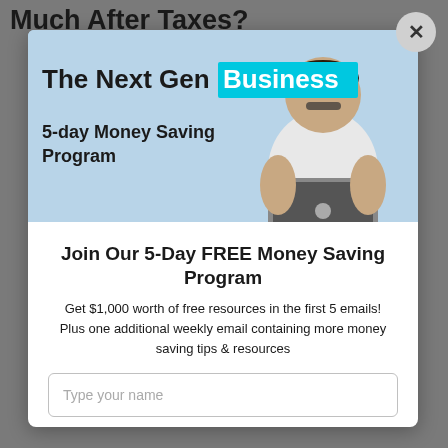Much After Taxes?
[Figure (screenshot): Modal popup with close button (×). Contains a banner image of a person working on a laptop with text 'The Next Gen Business 5-day Money Saving Program' on a light blue background.]
Join Our 5-Day FREE Money Saving Program
Get $1,000 worth of free resources in the first 5 emails! Plus one additional weekly email containing more money saving tips & resources
Type your name